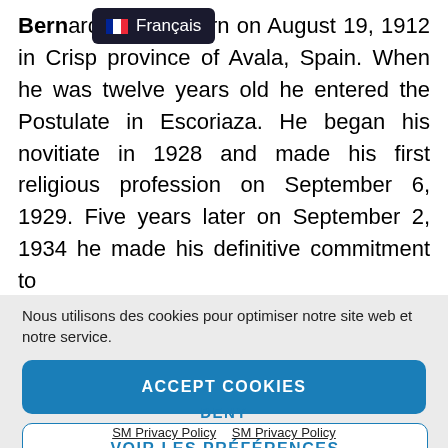Bern[ardo] a was born on August 19, 1912 in Crisp[...] province of Avala, Spain. When he was twelve years old he entered the Postulate in Escoriaza. He began his novitiate in 1928 and made his first religious profession on September 6, 1929. Five years later on September 2, 1934 he made his definitive commitment to
[Figure (other): Language selector tooltip showing French flag emoji and text 'Français' on dark background]
Nous utilisons des cookies pour optimiser notre site web et notre service.
ACCEPT COOKIES
DENY
VOIR LES PRÉFÉRENCES
SM Privacy Policy   SM Privacy Policy